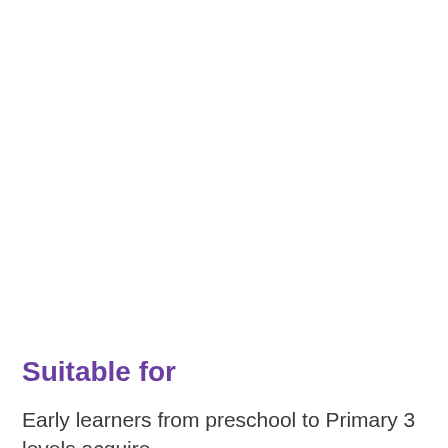Suitable for
Early learners from preschool to Primary 3 levels acquire strong the foundation